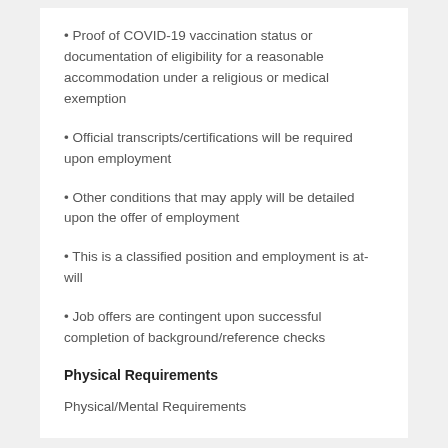• Proof of COVID-19 vaccination status or documentation of eligibility for a reasonable accommodation under a religious or medical exemption
• Official transcripts/certifications will be required upon employment
• Other conditions that may apply will be detailed upon the offer of employment
• This is a classified position and employment is at-will
• Job offers are contingent upon successful completion of background/reference checks
Physical Requirements
Physical/Mental Requirements
Ability to perform range of physical motions; lifting and carrying; standing, walking, sitting for long periods of time, kneeling,